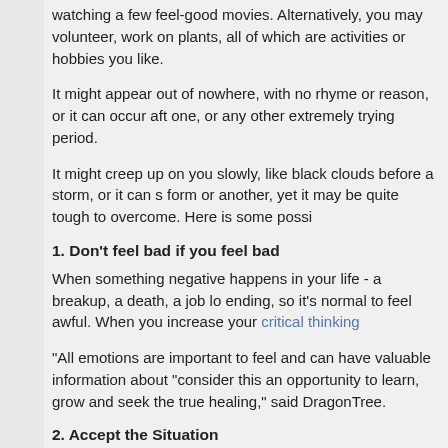watching a few feel-good movies. Alternatively, you may volunteer, work on plants, all of which are activities or hobbies you like.
It might appear out of nowhere, with no rhyme or reason, or it can occur after one, or any other extremely trying period.
It might creep up on you slowly, like black clouds before a storm, or it can s form or another, yet it may be quite tough to overcome. Here is some possi
1. Don't feel bad if you feel bad
When something negative happens in your life - a breakup, a death, a job lo ending, so it's normal to feel awful. When you increase your critical thinking
"All emotions are important to feel and can have valuable information about "consider this an opportunity to learn, grow and seek the true healing," said DragonTree.
2. Accept the Situation
You must come to grips with what is making you unhappy, whether it is bec terrible news, or are having troubles in your profession or relationships.
It is not a healthy technique to deal with melancholy to push anything terrib about it. Consider what makes you upset, but not to the point that you get o
3. Determine why you are sad first